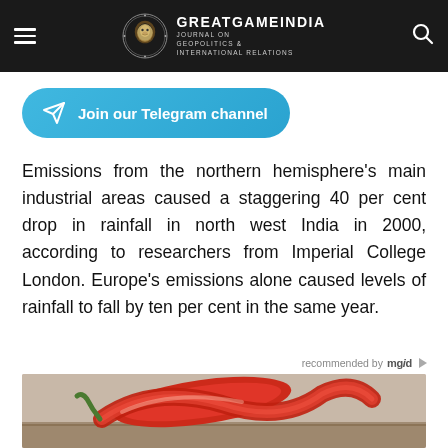GREATGAMEINDIA — JOURNAL ON GEOPOLITICS & INTERNATIONAL RELATIONS
[Figure (infographic): Join our Telegram channel button — cyan/blue rounded rectangle with Telegram send icon]
Emissions from the northern hemisphere's main industrial areas caused a staggering 40 per cent drop in rainfall in north west India in 2000, according to researchers from Imperial College London. Europe's emissions alone caused levels of rainfall to fall by ten per cent in the same year.
recommended by mgid
[Figure (photo): Photo of red chili peppers on a wooden surface]